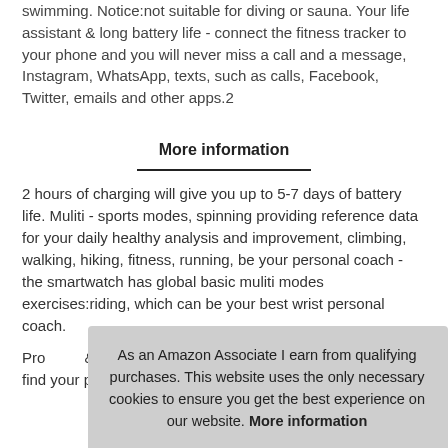swimming. Notice:not suitable for diving or sauna. Your life assistant & long battery life - connect the fitness tracker to your phone and you will never miss a call and a message, Instagram, WhatsApp, texts, such as calls, Facebook, Twitter, emails and other apps.2
More information
2 hours of charging will give you up to 5-7 days of battery life. Muliti - sports modes, spinning providing reference data for your daily healthy analysis and improvement, climbing, walking, hiking, fitness, running, be your personal coach - the smartwatch has global basic muliti modes exercises:riding, which can be your best wrist personal coach.
Prov & m wak stopwatch, breathing exercise and find your phone, countdown
As an Amazon Associate I earn from qualifying purchases. This website uses the only necessary cookies to ensure you get the best experience on our website. More information